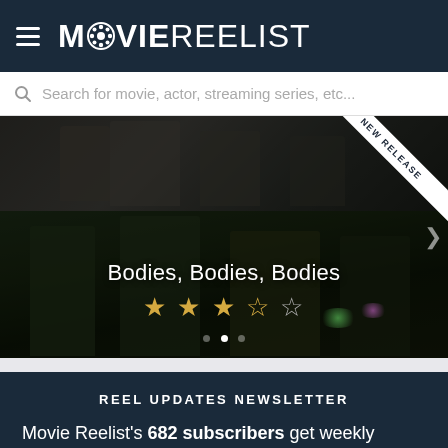MOVIE REELIST
Search for movie, actor, streaming series, etc...
[Figure (screenshot): Movie promotional image for 'Bodies, Bodies, Bodies' showing group of young people in dark scene, with NEW RELEASE ribbon banner in top-right corner, movie title and 3.5-star rating overlay at bottom]
Bodies, Bodies, Bodies
REEL UPDATES NEWSLETTER
Movie Reelist's 682 subscribers get weekly recaps of all the latest reviews and entertainment news, as well as instant